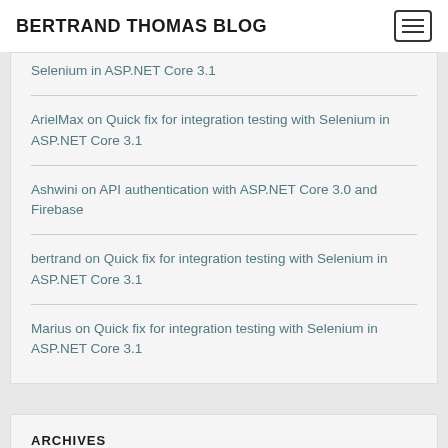BERTRAND THOMAS BLOG
Selenium in ASP.NET Core 3.1
ArielMax on Quick fix for integration testing with Selenium in ASP.NET Core 3.1
Ashwini on API authentication with ASP.NET Core 3.0 and Firebase
bertrand on Quick fix for integration testing with Selenium in ASP.NET Core 3.1
Marius on Quick fix for integration testing with Selenium in ASP.NET Core 3.1
ARCHIVES